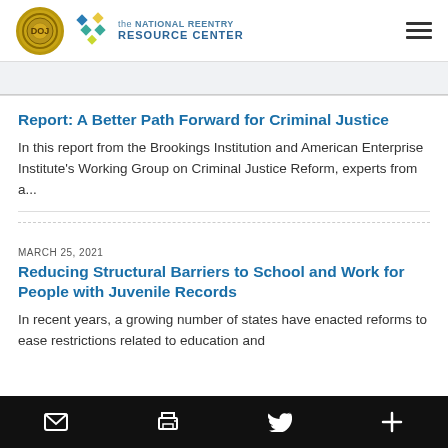the NATIONAL REENTRY RESOURCE CENTER
Report: A Better Path Forward for Criminal Justice
In this report from the Brookings Institution and American Enterprise Institute's Working Group on Criminal Justice Reform, experts from a...
MARCH 25, 2021
Reducing Structural Barriers to School and Work for People with Juvenile Records
In recent years, a growing number of states have enacted reforms to ease restrictions related to education and